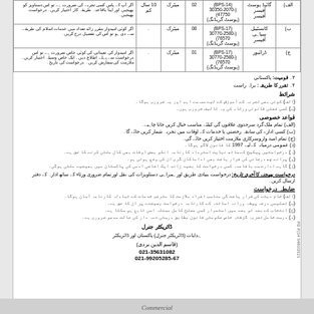| نمبر شمار | عہدہ | پے سکیل / گریڈ | تعداد | تعلیمی قابلیت | تجربہ | ذمہ داریاں |
| --- | --- | --- | --- | --- | --- | --- |
| الف) | گائیڈ پوسٹ آفیسر | (BPS-14) (30350-2070-47750) (پوسٹ گریڈنگ) | 02 | میٹرک | 10 سال کم | متعلقہ |
| ب) | کاتب / پولیس یا/اسسٹنٹ سب انسپکٹر | (BPS-17) (30770-2580-76570) (پوسٹ گریڈنگ) | 08 | میٹرک | 10 سال کم | متعلقہ |
| ج) | ڈرائیور | (BPS-17) (30770-2580-76570) (پوسٹ گریڈنگ) | 01 | میٹرک | 10 سال کم | متعلقہ |
۳۔ قومیت: پاکستانی
۴۔ تقرر کا طریقہ: براہ راست
شرائط
(الف) کسی بھی تجربہ کے آموزش کے لیے یہ ضروری ہوگا۔
(ب) کسی فعلی قانونی ورثاء کی وہ تالیف ضروری ہوں۔
قواعد خصوصی
(الف) تمام ملک گردسرحدوی علاقوں گی کیلئے مناسب خیال کریں جانا چاہیے۔
(ب) کسی ادارے کی سابقہ رخصتی یا خدمات کے اوقات میں تجربہ شمار کریں جائے گا۔
(ج) تمام امید وراروسرکاری ملازمت اختیار کریں جائے گی۔
(د) عمومی درمیانہ کے لیے 1997 کا قانون لاگو ہوگا۔
(ہ) درخواستیں پیکیج کے ساتھ نہایت استرداد کارنامہ انکو بعض اوقات بھی کال ملتی کرنے کا حق ہے۔
(و) پرانے چھ درجائی کی قرار یافت بھی اد اماکان گری ان کی وضع ہوتی ہو۔
(ز) گاہے ادارے سے باقاعدہ کسی درخواست کابعید زائد ایک اضافی آدمی کی پاکستان میں بھیجیے۔ ملتی ہوگی۔
درخواست بھیجنے کا آخری تاریخ: درخواست بنیادی طریق اور ہمراہی دستاویزات کی نقل اور تمام ضروری ورثاء کے ساتھ ادارہ کے دفتر ارسال کریں۔
ضابطہ درخواست
(الف) خام دیتے کی قرار یافت گی مناسب افراد ملازمت کامترجم خدمات کے تبادلہ کارنامہ آسان ہوگا۔
(ب) تعلیمی درجہ پیشہ ورانہ اساتذہ کے کارنامہ درخواست بھیجنے پر ان کا حق ہے۔
(ج) انتخاب کے بعد تو بعد میں استمرار کسی مصلح کامل مسئلہ اسی تابع ہو سکتا ہے۔
(د) درست خامل تجربہ گزشتہ خاص حکومتی قانون مطابق درستی ذمہ دار کی حالت مدعو ضروری ہے۔
ڈائریکٹر جنرل
ہدایات (ڈائریکٹر جنرل) پاکستان اور ڈائریکٹر
(قاسم الدین بردی)
021-35631082
021-99205285-67
Commercial